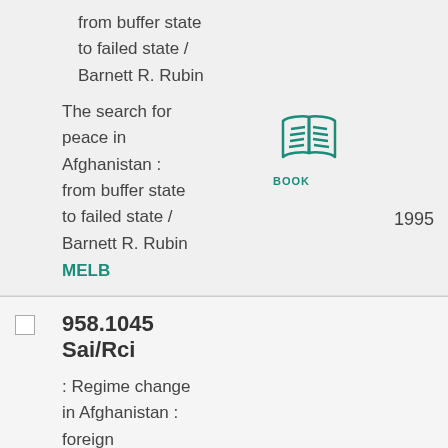from buffer state to failed state / Barnett R. Rubin
The search for peace in Afghanistan : from buffer state to failed state / Barnett R. Rubin
MELB
[Figure (illustration): Teal book icon with BOOK label]
1995
958.1045 Sai/Rci
: Regime change in Afghanistan : foreign intervention and the politics of legitimacy / Amin